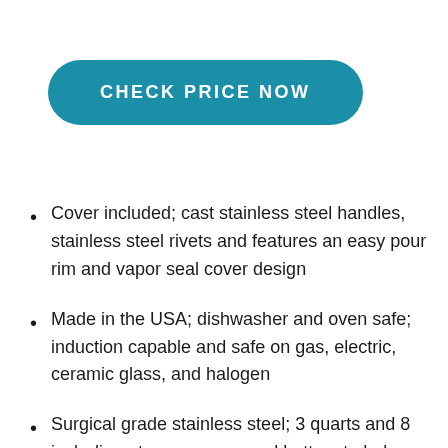CHECK PRICE NOW
Cover included; cast stainless steel handles, stainless steel rivets and features an easy pour rim and vapor seal cover design
Made in the USA; dishwasher and oven safe; induction capable and safe on gas, electric, ceramic glass, and halogen
Surgical grade stainless steel; 3 quarts and 8 inch diameter; reverse panel bottom to help resist warping